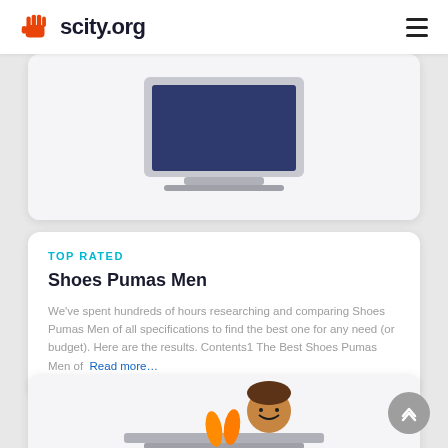scity.org
[Figure (illustration): Partial view of a laptop illustration, top portion of an article card]
TOP RATED
Shoes Pumas Men
We've spent hundreds of hours researching and comparing Shoes Pumas Men of all specifications to find the best one for any need (or budget). Here are the results. Contents1 The Best Shoes Pumas Men of  Read more...
[Figure (illustration): Partial view of an illustration showing a man with carrots and food items, bottom article card]